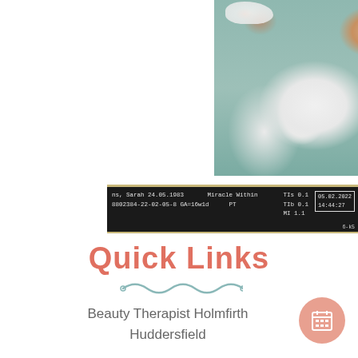[Figure (photo): Newborn baby swaddled in white dinosaur-print blanket lying in a crib with a white stuffed animal/comforter, teal/mint crib visible in background]
[Figure (screenshot): Ultrasound machine screen capture strip showing patient data: 'ns, Sarah 24.05.1983', '8802384-22-02-05-8 GA=16w1d', 'Miracle Within PT', 'TIs 0.1, TIb 0.1, MI 1.1', date '05.02.2022 14:44:27']
Quick Links
Beauty Therapist Holmfirth Huddersfield